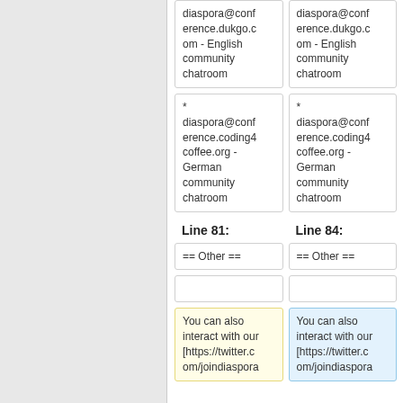diaspora@conference.dukgo.com - English community chatroom
diaspora@conference.dukgo.com - English community chatroom
* diaspora@conference.coding4coffee.org - German community chatroom
* diaspora@conference.coding4coffee.org - German community chatroom
Line 81:
Line 84:
== Other ==
== Other ==
You can also interact with our [https://twitter.com/joindiaspora
You can also interact with our [https://twitter.com/joindiaspora